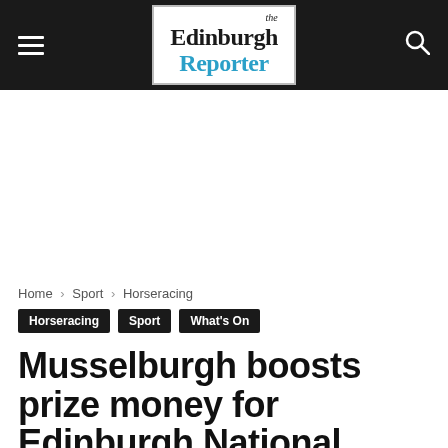the Edinburgh Reporter
[Figure (other): Advertisement or empty whitespace area below the navigation bar]
Home › Sport › Horseracing
Horseracing
Sport
What's On
Musselburgh boosts prize money for Edinburgh National contest